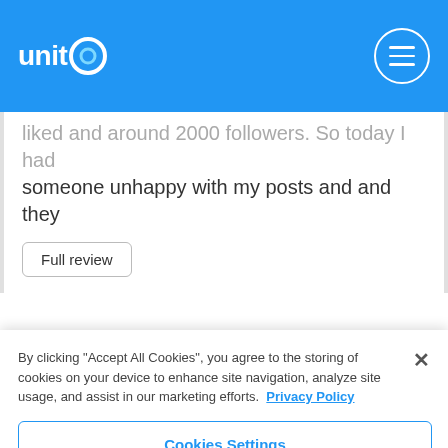unitQ
liked and around 2000 followers. So today I had someone unhappy with my posts and and they
Full review
By clicking "Accept All Cookies", you agree to the storing of cookies on your device to enhance site navigation, analyze site usage, and assist in our marketing efforts. Privacy Policy
Cookies Settings
Reject All
Accept All Cookies